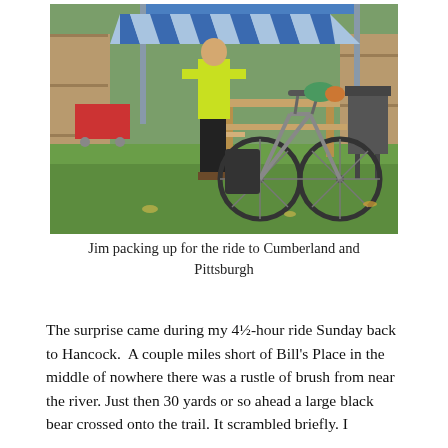[Figure (photo): A person wearing a yellow-green cycling jacket and black pants standing next to a loaded touring bicycle in a backyard. There is a blue and white striped canopy/gazebo in the background, a wooden picnic table, a wooden fence, and green grass. The bicycle has pannier bags and gear strapped to it.]
Jim packing up for the ride to Cumberland and Pittsburgh
The surprise came during my 4½-hour ride Sunday back to Hancock.  A couple miles short of Bill's Place in the middle of nowhere there was a rustle of brush from near the river. Just then 30 yards or so ahead a large black bear crossed onto the trail. It scrambled briefly. I...